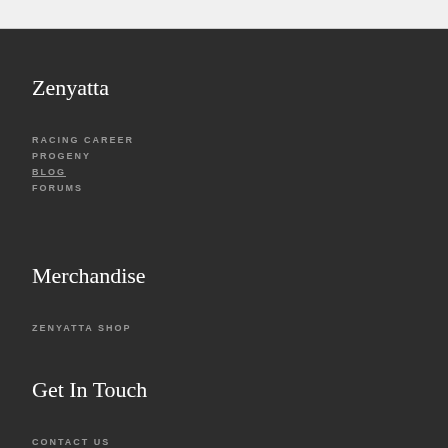Zenyatta
RACING CAREER
PROGENY
BLOG
FORUMS
Merchandise
ZENYATTA SHOP
Get In Touch
CONTACT US